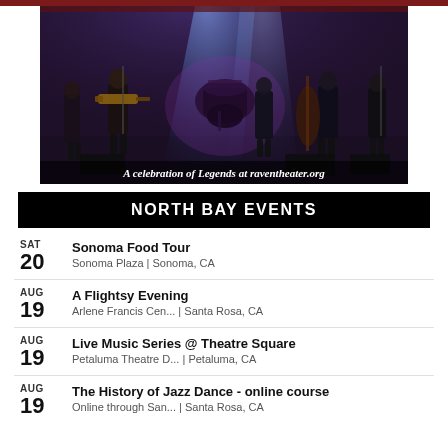[Figure (photo): Band performing on a stage with blue/purple stage lighting. Multiple musicians visible including guitarist in foreground, drummer, bass player, and others. Dark concert venue setting.]
A celebration of Legends at raventheater.org
NORTH BAY EVENTS
SAT 20 | Sonoma Food Tour | Sonoma Plaza | Sonoma, CA
AUG 19 | A Flightsy Evening | Arlene Francis Cen... | Santa Rosa, CA
AUG 19 | Live Music Series @ Theatre Square | Petaluma Theatre D... | Petaluma, CA
AUG 19 | The History of Jazz Dance - online course | Online through San... | Santa Rosa, CA